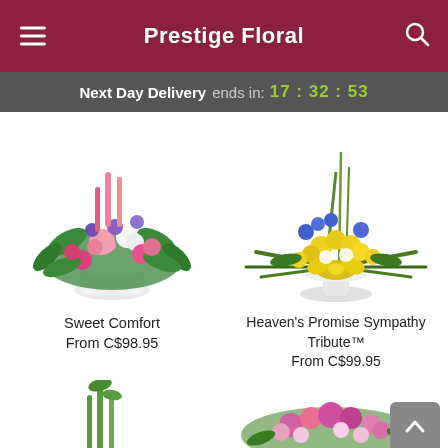Prestige Floral
Next Day Delivery ends in: 17:32:53
[Figure (photo): Floral arrangement called Sweet Comfort in a white pot with pink roses, pink carnations, purple asters, and greenery]
Sweet Comfort
From C$98.95
[Figure (photo): Floral arrangement called Heaven's Promise Sympathy Tribute with yellow flowers, blue delphiniums, palm fronds, and a yellow bow in a white pedestal vase]
Heaven's Promise Sympathy Tribute™
From C$99.95
[Figure (photo): Partial view of a green stem floral arrangement at bottom left]
[Figure (photo): Partial view of a pink floral casket spray with roses and daisies at bottom right]